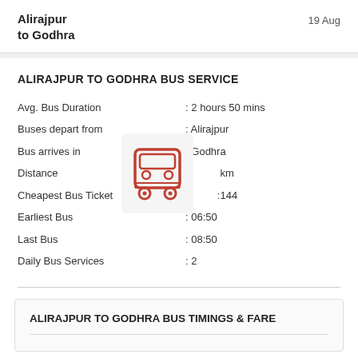Alirajpur to Godhra | 19 Aug
ALIRAJPUR TO GODHRA BUS SERVICE
|  |  |
| --- | --- |
| Avg. Bus Duration | : 2 hours 50 mins |
| Buses depart from | : Alirajpur |
| Bus arrives in | : Godhra |
| Distance | : km |
| Cheapest Bus Ticket | : 144 |
| Earliest Bus | : 06:50 |
| Last Bus | : 08:50 |
| Daily Bus Services | : 2 |
[Figure (illustration): Red bus icon overlay on the info table]
ALIRAJPUR TO GODHRA BUS TIMINGS & FARE